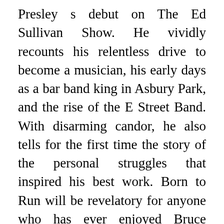Presley s debut on The Ed Sullivan Show. He vividly recounts his relentless drive to become a musician, his early days as a bar band king in Asbury Park, and the rise of the E Street Band. With disarming candor, he also tells for the first time the story of the personal struggles that inspired his best work. Born to Run will be revelatory for anyone who has ever enjoyed Bruce Springsteen, but this book is much more than a legendary rock star s memoir. This is a book for workers and dreamers, parents and children, lovers and loners, artists, freaks, or anyone who has ever wanted to be baptized in the holy river of rock and roll. Rarely has a performer told